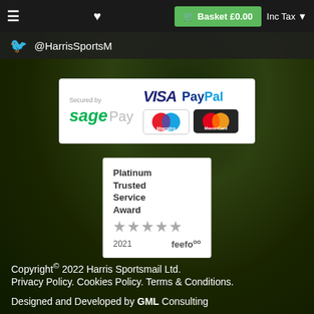Basket £0.00  Inc Tax
@HarrisSportsM
[Figure (logo): Sage Pay secured payment badge with VISA, PayPal, Maestro, and MasterCard logos]
[Figure (logo): Platinum Trusted Service Award 5 stars 2021 feefo badge]
Copyright© 2022 Harris Sportsmail Ltd. Privacy Policy. Cookies Policy. Terms & Conditions. Designed and Developed by GML Consulting